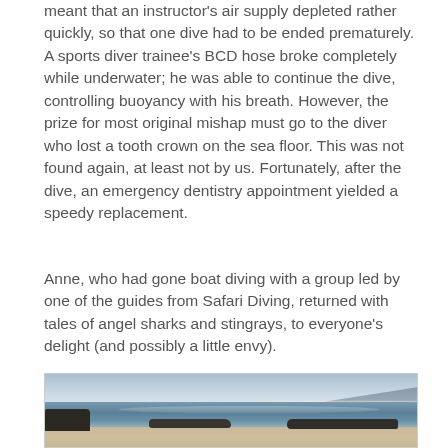meant that an instructor's air supply depleted rather quickly, so that one dive had to be ended prematurely. A sports diver trainee's BCD hose broke completely while underwater; he was able to continue the dive, controlling buoyancy with his breath. However, the prize for most original mishap must go to the diver who lost a tooth crown on the sea floor. This was not found again, at least not by us. Fortunately, after the dive, an emergency dentistry appointment yielded a speedy replacement.
Anne, who had gone boat diving with a group led by one of the guides from Safari Diving, returned with tales of angel sharks and stingrays, to everyone's delight (and possibly a little envy).
[Figure (photo): A beach scene with blue sky, calm sea water with light reflections, rocky outcrops in the water, sandy beach in the foreground, and a mountain visible in the background on the right side.]